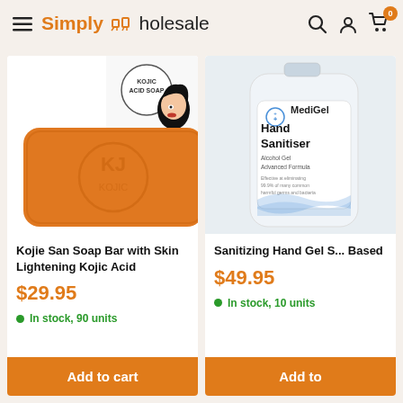Simply Wholesale
[Figure (photo): Kojie San orange soap bar with Kojic Acid Soap label and illustrated woman face]
Kojie San Soap Bar with Skin Lightening Kojic Acid
$29.95
In stock, 90 units
Add to cart
[Figure (photo): MediGel Hand Sanitiser bottle - Alcohol Gel Advanced Formula]
Sanitizing Hand Gel S... Based
$49.95
In stock, 10 units
Add to